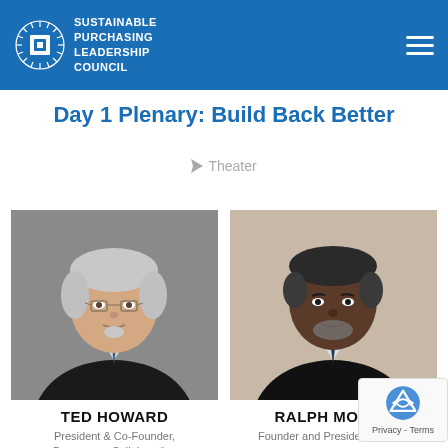Sustainable Purchasing Leadership Council
Day 1 Plenary: Build Back Better
Theater
[Figure (photo): Headshot of Ted Howard, older white man with gray hair and glasses, wearing a dark suit]
TED HOWARD
President & Co-Founder, Democracy Collaborative
[Figure (photo): Headshot of Ralph Moore, Black man with gray beard, wearing a dark suit and tie]
RALPH MOORE
Founder and President, RGMA